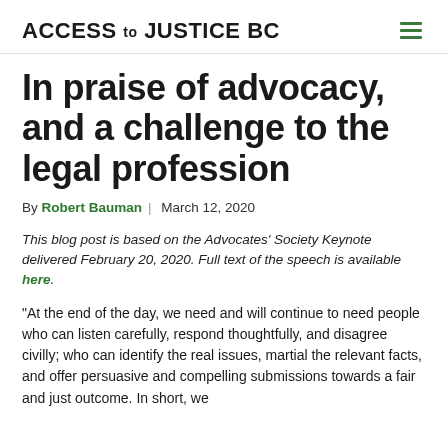ACCESS TO JUSTICE BC
In praise of advocacy, and a challenge to the legal profession
By Robert Bauman | March 12, 2020
This blog post is based on the Advocates' Society Keynote delivered February 20, 2020. Full text of the speech is available here.
“At the end of the day, we need and will continue to need people who can listen carefully, respond thoughtfully, and disagree civilly; who can identify the real issues, martial the relevant facts, and offer persuasive and compelling submissions towards a fair and just outcome. In short, we